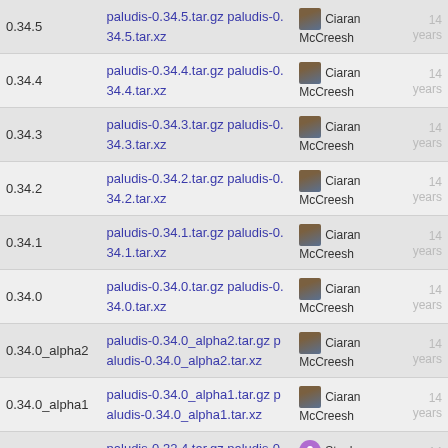| Version | Files | Author | Age |
| --- | --- | --- | --- |
| 0.34.5 | paludis-0.34.5.tar.gz paludis-0.34.5.tar.xz | Ciaran McCreesh | 14 years |
| 0.34.4 | paludis-0.34.4.tar.gz paludis-0.34.4.tar.xz | Ciaran McCreesh | 14 years |
| 0.34.3 | paludis-0.34.3.tar.gz paludis-0.34.3.tar.xz | Ciaran McCreesh | 14 years |
| 0.34.2 | paludis-0.34.2.tar.gz paludis-0.34.2.tar.xz | Ciaran McCreesh | 14 years |
| 0.34.1 | paludis-0.34.1.tar.gz paludis-0.34.1.tar.xz | Ciaran McCreesh | 14 years |
| 0.34.0 | paludis-0.34.0.tar.gz paludis-0.34.0.tar.xz | Ciaran McCreesh | 14 years |
| 0.34.0_alpha2 | paludis-0.34.0_alpha2.tar.gz paludis-0.34.0_alpha2.tar.xz | Ciaran McCreesh | 14 years |
| 0.34.0_alpha1 | paludis-0.34.0_alpha1.tar.gz paludis-0.34.0_alpha1.tar.xz | Ciaran McCreesh | 14 years |
| 0.32.4 | paludis-0.32.4.tar.gz paludis-0.32.4.tar.xz | Stephen Bennett | 14 years |